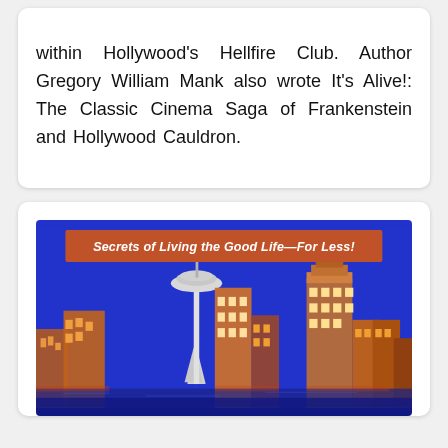within Hollywood's Hellfire Club. Author Gregory William Mank also wrote It's Alive!: The Classic Cinema Saga of Frankenstein and Hollywood Cauldron.
[Figure (photo): Book cover showing Seattle skyline with Space Needle at night/dusk with blue sky. Orange banner at top reads 'Secrets of Living the Good Life—For Less!']